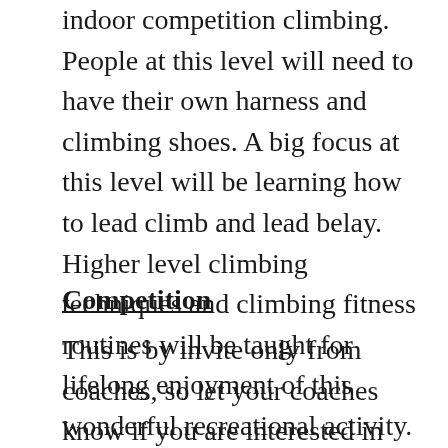indoor competition climbing. People at this level will need to have their own harness and climbing shoes. A big focus at this level will be learning how to lead climb and lead belay. Higher level climbing techniques and climbing fitness routines will be taught for lifelong enjoyment of this wonderful recreational activity. If you are interested in competing, let your coaches know when in this level. These sessions go for 1.5 hours
Competition
This is by invite only from coaches, so let your coaches know if you are interested in competing. The focus of this group is all aspects of competition climbing. Advanced techniques and fitness training routines as well as learning how to lead climb and lead belay. People at this level will need to have their own harness and climbing shoes. You will be expected to be attending two climbing sessions a week. These